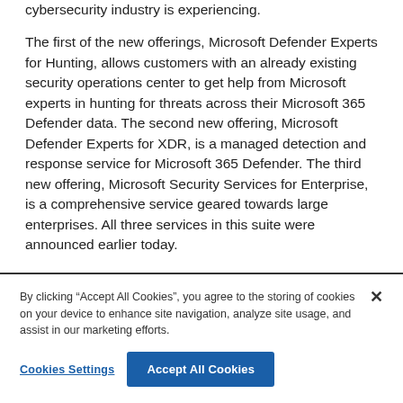cybersecurity industry is experiencing.
The first of the new offerings, Microsoft Defender Experts for Hunting, allows customers with an already existing security operations center to get help from Microsoft experts in hunting for threats across their Microsoft 365 Defender data. The second new offering, Microsoft Defender Experts for XDR, is a managed detection and response service for Microsoft 365 Defender. The third new offering, Microsoft Security Services for Enterprise, is a comprehensive service geared towards large enterprises. All three services in this suite were announced earlier today.
By clicking “Accept All Cookies”, you agree to the storing of cookies on your device to enhance site navigation, analyze site usage, and assist in our marketing efforts.
Cookies Settings
Accept All Cookies